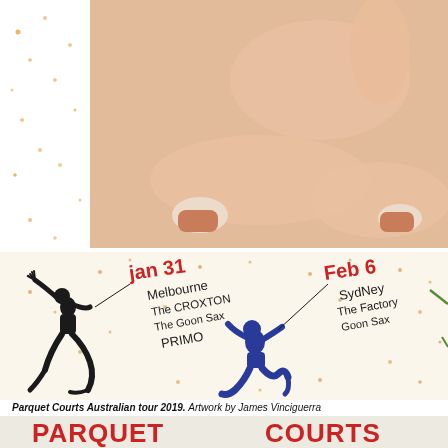[Figure (illustration): Photo/illustration of a reclining body with legs visible, skin-toned warm background, partial view of person sitting on floor. Left strip is white with small orange/gold dot decorations.]
[Figure (illustration): Parquet Courts Australian tour 2019 concert poster artwork by James Vinciguerra. Features hand-drawn lettering showing two show dates: Jan 31 Melbourne at The Croxton with The Goon Sax and Primo; Feb 6 Sydney at The Factory with The Goon Sax. Includes two silhouette figures dancing — one black figure on left, one blue figure in center. Scattered orange/gold dot confetti pattern on cream background.]
Parquet Courts Australian tour 2019. Artwork by James Vinciguerra
[Figure (illustration): Partial view of bottom Parquet Courts poster with large red bold text reading PARQUET COURTS across the top. Below is a sketchy illustration of a figure with teal/blue hair raising one hand, and a yellow/orange sun-like starburst shape on the right. Light blue and cream background with pencil/crayon texture.]